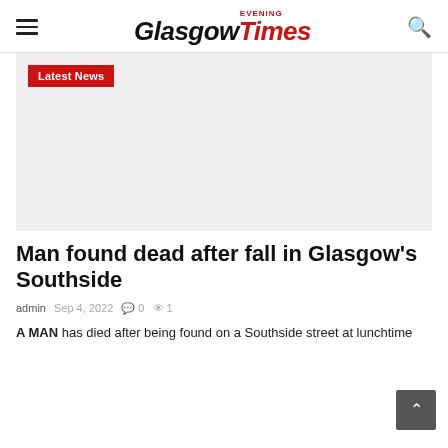Glasgow Evening Times
[Figure (other): Placeholder image area for news article, light gray background with Latest News badge]
Man found dead after fall in Glasgow's Southside
admin  Sep 4, 2022  0  1
A MAN has died after being found on a Southside street at lunchtime